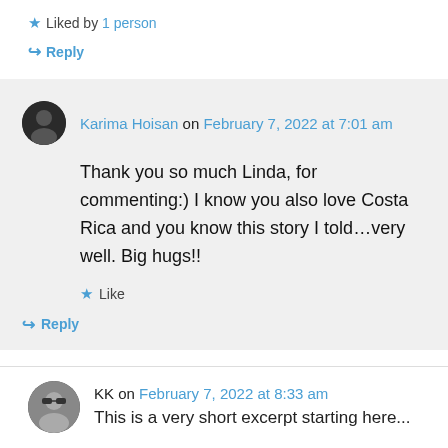★ Liked by 1 person
↪ Reply
Karima Hoisan on February 7, 2022 at 7:01 am
Thank you so much Linda, for commenting:) I know you also love Costa Rica and you know this story I told…very well. Big hugs!!
★ Like
↪ Reply
KK on February 7, 2022 at 8:33 am
This is a very short excerpt starting here...